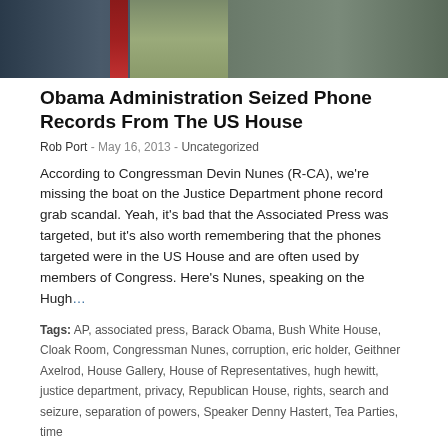[Figure (photo): Two men in suits, one with a red tie, outdoors with green background — top portion of photo, cropped]
Obama Administration Seized Phone Records From The US House
Rob Port - May 16, 2013 - Uncategorized
According to Congressman Devin Nunes (R-CA), we're missing the boat on the Justice Department phone record grab scandal. Yeah, it's bad that the Associated Press was targeted, but it's also worth remembering that the phones targeted were in the US House and are often used by members of Congress. Here's Nunes, speaking on the Hugh…
Tags: AP, associated press, Barack Obama, Bush White House, Cloak Room, Congressman Nunes, corruption, eric holder, Geithner Axelrod, House Gallery, House of Representatives, hugh hewitt, justice department, privacy, Republican House, rights, search and seizure, separation of powers, Speaker Denny Hastert, Tea Parties, time
[Figure (photo): Close-up of a person's face, partial view, with blue background at right — bottom portion of page]